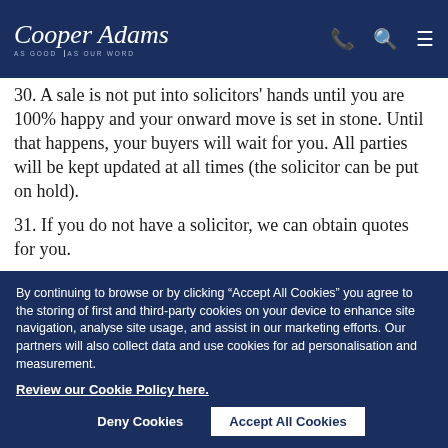Cooper Adams — AS GOOD AS OUR WORD
30. A sale is not put into solicitors' hands until you are 100% happy and your onward move is set in stone. Until that happens, your buyers will wait for you. All parties will be kept updated at all times (the solicitor can be put on hold).
31. If you do not have a solicitor, we can obtain quotes for you.
By continuing to browse or by clicking “Accept All Cookies” you agree to the storing of first and third-party cookies on your device to enhance site navigation, analyse site usage, and assist in our marketing efforts. Our partners will also collect data and use cookies for ad personalisation and measurement.
Review our Cookie Policy here.
Deny Cookies | Accept All Cookies